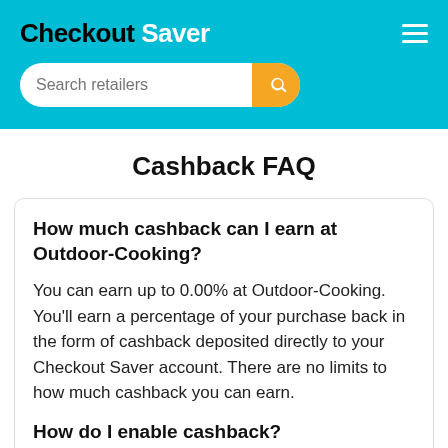Checkout Saver
Cashback FAQ
How much cashback can I earn at Outdoor-Cooking?
You can earn up to 0.00% at Outdoor-Cooking. You'll earn a percentage of your purchase back in the form of cashback deposited directly to your Checkout Saver account. There are no limits to how much cashback you can earn.
How do I enable cashback?